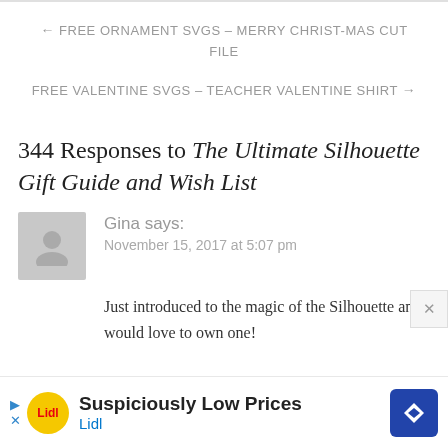← FREE ORNAMENT SVGS – MERRY CHRIST-MAS CUT FILE
FREE VALENTINE SVGS – TEACHER VALENTINE SHIRT →
344 Responses to The Ultimate Silhouette Gift Guide and Wish List
Gina says:
November 15, 2017 at 5:07 pm
Just introduced to the magic of the Silhouette and would love to own one!
[Figure (infographic): Lidl advertisement banner: Suspiciously Low Prices]